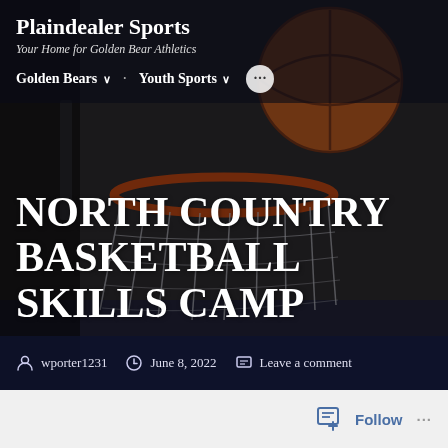Plaindealer Sports
Your Home for Golden Bear Athletics
Golden Bears ∨   Youth Sports ∨   •••
NORTH COUNTRY BASKETBALL SKILLS CAMP
wporter1231   June 8, 2022   Leave a comment
[Figure (photo): Basketball going through a hoop with net, dark background, warm orange basketball prominent at top right]
Follow   •••